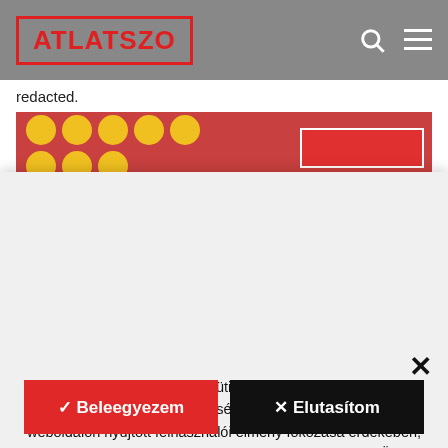ATLATSZO
redacted.
[Figure (illustration): Banner image with yellow polka dots on red/pink background and a red rectangle on the right]
A(z) https://atlatszo.hu oldal sütiket és más kódokat használ a honlap megfelelő működésének biztosítása céljából, a weboldalon nyújtott felhasználói élmény fokozása érdekében, továbbá ennek segítségével készít elemzéseket az Ön számára releváns, személyre szabott ajánlatok összeállításához. Bővebb információt az adatkezelési tájékoztatónkban talál.
✓ Beleegyezem   ✕ Elutasítom